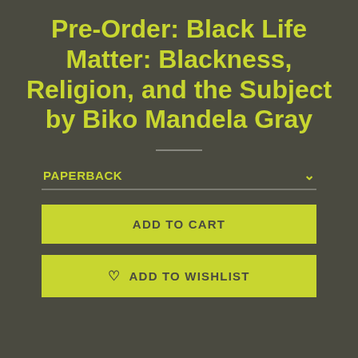Pre-Order: Black Life Matter: Blackness, Religion, and the Subject by Biko Mandela Gray
PAPERBACK
ADD TO CART
ADD TO WISHLIST